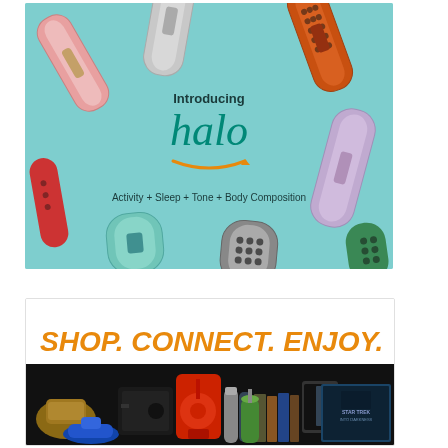[Figure (illustration): Amazon Halo fitness tracker advertisement on light blue background. Shows multiple colorful watch bands scattered around central text reading 'Introducing halo' with Amazon smile logo arrow underneath. Tagline: 'Activity + Sleep + Tone + Body Composition'. Various band colors: pink, grey, teal, orange/brown, lavender, black/white dotted.]
[Figure (illustration): E-commerce advertisement with white background. Large bold italic orange text reads 'SHOP. CONNECT. ENJOY.' Below is a collage of various products including a handbag, gaming console, kitchen mixer, tablets/Kindles, books, water bottles, and Star Trek movie box set.]